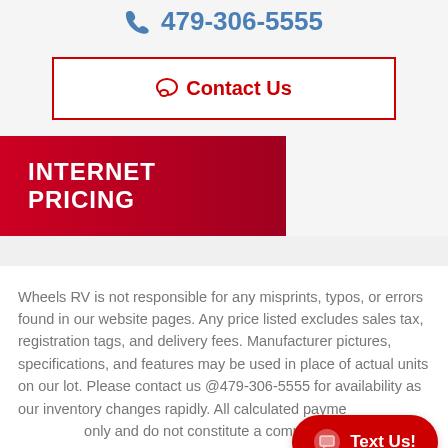📞 479-306-5555
💬 Contact Us
INTERNET PRICING
Wheels RV is not responsible for any misprints, typos, or errors found in our website pages. Any price listed excludes sales tax, registration tags, and delivery fees. Manufacturer pictures, specifications, and features may be used in place of actual units on our lot. Please contact us @479-306-5555 for availability as our inventory changes rapidly. All calculated payments are estimates only and do not constitute a commitment that financing or a specific interest rate or term is available.
Text Us!